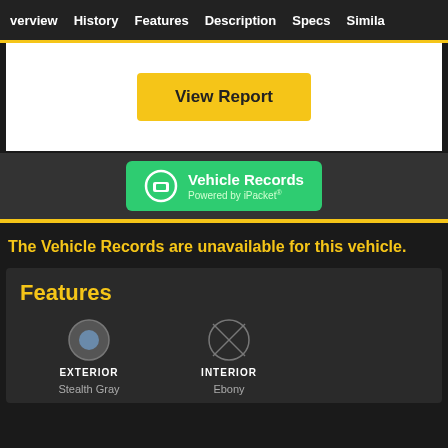verview | History | Features | Description | Specs | Simila
[Figure (screenshot): White card section with a yellow 'View Report' button centered]
[Figure (logo): Green 'Vehicle Records Powered by iPacket' button/banner]
The Vehicle Records are unavailable for this vehicle.
Features
[Figure (infographic): Exterior and Interior feature icons with labels: EXTERIOR Stealth Gray, INTERIOR Ebony]